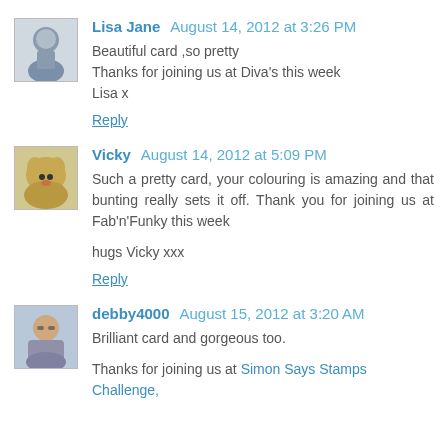[Figure (photo): Avatar image of Lisa Jane, person sitting]
Lisa Jane August 14, 2012 at 3:26 PM
Beautiful card ,so pretty
Thanks for joining us at Diva's this week
Lisa x
Reply
[Figure (photo): Avatar image of Vicky, a dog]
Vicky August 14, 2012 at 5:09 PM
Such a pretty card, your colouring is amazing and that bunting really sets it off. Thank you for joining us at Fab'n'Funky this week

hugs Vicky xxx
Reply
[Figure (photo): Avatar image of debby4000, woman with glasses]
debby4000 August 15, 2012 at 3:20 AM
Brilliant card and gorgeous too.

Thanks for joining us at Simon Says Stamps Challenge,